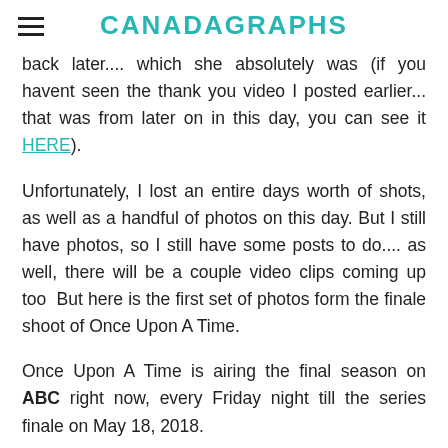CANADAGRAPHS
back later.... which she absolutely was (if you havent seen the thank you video I posted earlier... that was from later on in this day, you can see it HERE).
Unfortunately, I lost an entire days worth of shots, as well as a handful of photos on this day. But I still have photos, so I still have some posts to do.... as well, there will be a couple video clips coming up too  But here is the first set of photos form the finale shoot of Once Upon A Time.
Once Upon A Time is airing the final season on ABC right now, every Friday night till the series finale on May 18, 2018.